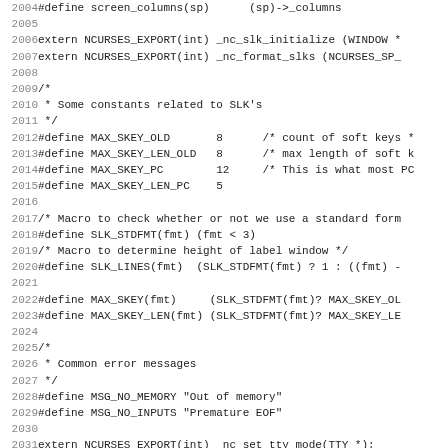[Figure (screenshot): Source code listing showing C preprocessor definitions and extern declarations for ncurses library, lines 2004-2035. Includes #define macros for screen_columns, MAX_SKEY_OLD, MAX_SKEY_LEN_OLD, MAX_SKEY_PC, MAX_SKEY_LEN_PC, SLK_STDFMT, SLK_LINES, MAX_SKEY, MAX_SKEY_LEN, MSG_NO_MEMORY, MSG_NO_INPUTS, TW_NONE, and extern declarations for _nc_slk_initialize, _nc_format_slks, _nc_set_tty_mode, _nc_get_tty_mode.]